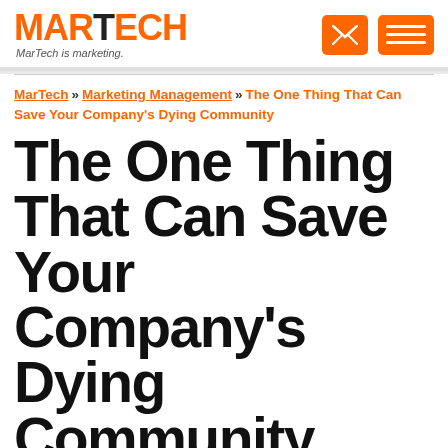MARTECH — MarTech is marketing.
MarTech » Marketing Management » The One Thing That Can Save Your Company's Dying Community
The One Thing That Can Save Your Company's Dying Community
Columnist Jim Williams explains the difference between an online community and an advocate marketing program and